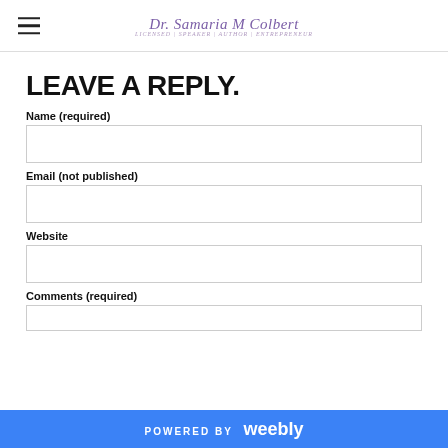Dr. Samaria M Colbert
LEAVE A REPLY.
Name (required)
Email (not published)
Website
Comments (required)
POWERED BY weebly